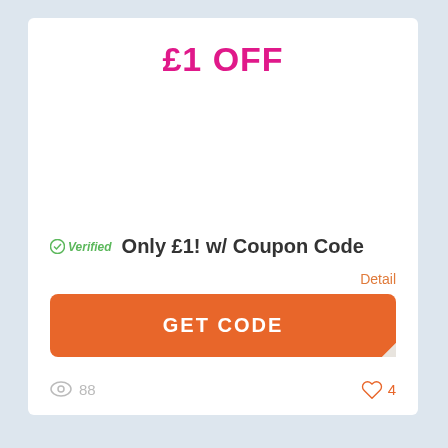£1 OFF
✓ Verified   Only £1! w/ Coupon Code
Detail
GET CODE
Expire At: Soon
88
4